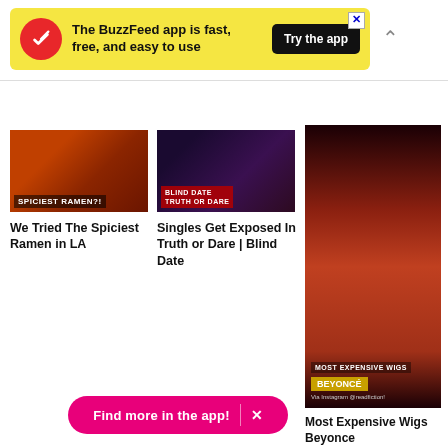[Figure (infographic): BuzzFeed app promotional banner on yellow background with red circular arrow logo, text 'The BuzzFeed app is fast, free, and easy to use', and dark 'Try the app' button]
[Figure (photo): Thumbnail of people eating spicy ramen with text overlay 'SPICIEST RAMEN?!']
We Tried The Spiciest Ramen in LA
[Figure (photo): Thumbnail of blind date show with text overlay 'BLIND DATE TRUTH OR DARE']
Singles Get Exposed In Truth or Dare | Blind Date
[Figure (photo): Tall thumbnail of Beyoncé wig video with text overlays 'MOST EXPENSIVE WIGS' and 'BEYONCÉ']
Most Expensive Wigs Beyonce
[Figure (infographic): Pink pill-shaped CTA button reading 'Find more in the app!' with X close button]